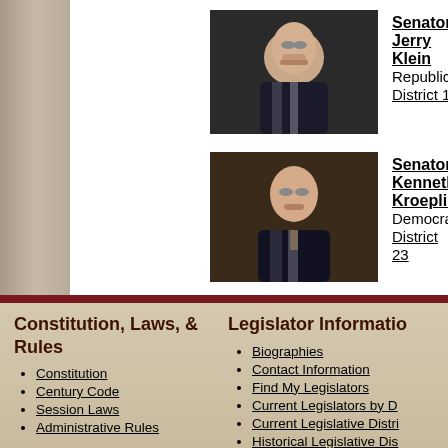[Figure (photo): Portrait photo of Senator Jerry Klein, elderly man with white mustache and glasses wearing dark suit]
Senator Jerry Klein
Republican
District 14
[Figure (photo): Portrait photo of Senator Kenneth Kroeplin, middle-aged man with glasses wearing dark suit and tie]
Senator Kenneth Kroeplin
Democrat
District 23
Constitution, Laws, & Rules
Constitution
Century Code
Session Laws
Administrative Rules
Legislator Information
Biographies
Contact Information
Find My Legislators
Current Legislators by D
Current Legislative Distri
Historical Legislative Dis